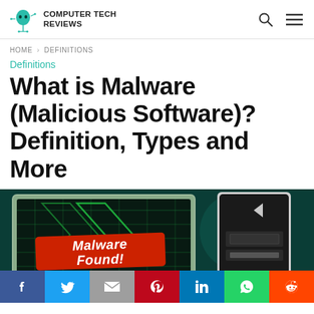COMPUTER TECH REVIEWS
HOME > DEFINITIONS
Definitions
What is Malware (Malicious Software)? Definition, Types and More
[Figure (illustration): Hero illustration showing a computer monitor with green circuit board background and a red 'Malware Found!' warning banner, alongside a computer tower graphic, on a dark teal background. Social sharing bar at bottom with Facebook, Twitter, Gmail, Pinterest, LinkedIn, WhatsApp, and Reddit buttons.]